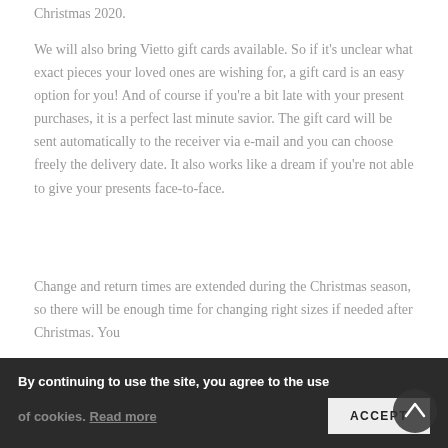Christmas 2020.
We will also bring Vietto gift cards available. So if it's unclear what exact pieces your loved ones are wishing for, a gift card is an easy option for you! And of course if you're a bit late with your present purchases, it is a perfect last minute savior. The gift card will be sent automatically to the receiver via e-mail and you can choose freely the delivery date. It also works like a dream if you're not able to give your presents face-to-face.
Change and return times are extended during the Christmas season, so there will be enough time for changing right sizes if needed after Christmas. You
for example via e-mail. Lovely Christmas season for
By continuing to use the site, you agree to the use of cookies. Read more
ACCEPT